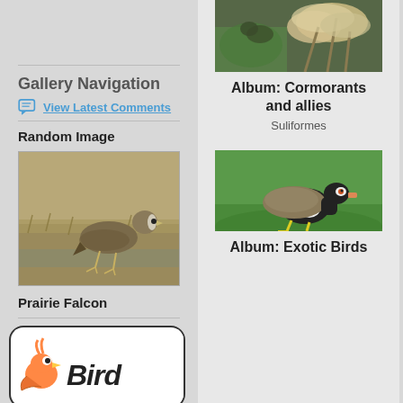Gallery Navigation
View Latest Comments
Random Image
[Figure (photo): Prairie Falcon bird standing in a field with dry grass and shallow water]
Prairie Falcon
[Figure (logo): Bird photography website logo showing a cartoon bird with the word Bird in handwritten script]
[Figure (photo): Album photo showing a bird perched among tall dried plant stems with feathery tops]
Album: Cormorants and allies
Suliformes
[Figure (photo): A Southern Red Bishop or similar bird standing on green grass, with striking black and orange plumage and yellow legs]
Album: Exotic Birds